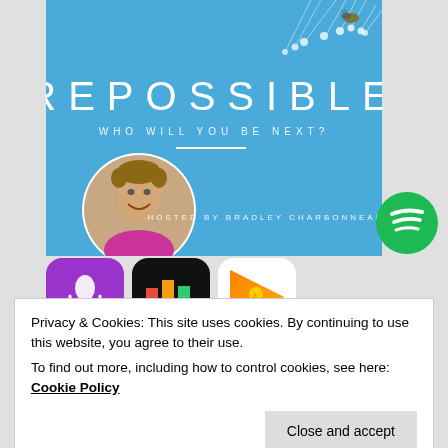[Figure (illustration): Repossible podcast cover art: blue background with dandelion seeds at top, large white text 'REPOSSIBLE', subtitle 'WHO WILL YOU BE NEXT?', a horizontal white line, circular photo of host Bradley Charbonneau smiling, and text 'HOSTED BY BRADLEY CHARBONNEAU']
[Figure (logo): Spotify green circle logo]
[Figure (logo): Apple Podcasts purple app icon]
[Figure (logo): Black app icon with colorful bars (RadioPublic or similar)]
[Figure (logo): Google Play Music or Podcast Addict orange play icon]
Privacy & Cookies: This site uses cookies. By continuing to use this website, you agree to their use.
To find out more, including how to control cookies, see here: Cookie Policy
Close and accept